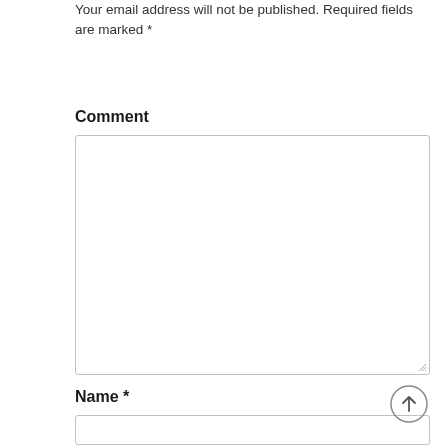Your email address will not be published. Required fields are marked *
Comment
[Figure (other): Large empty comment textarea input box with resize handle at bottom-right corner]
Name *
[Figure (other): Small single-line name input text field]
[Figure (other): Scroll-to-top circular button with upward arrow icon]